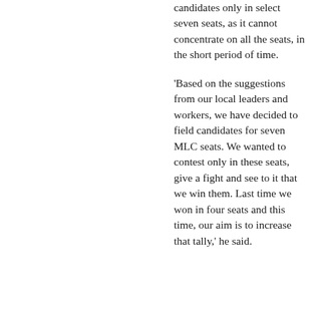candidates only in select seven seats, as it cannot concentrate on all the seats, in the short period of time.
'Based on the suggestions from our local leaders and workers, we have decided to field candidates for seven MLC seats. We wanted to contest only in these seats, give a fight and see to it that we win them. Last time we won in four seats and this time, our aim is to increase that tally,' he said.